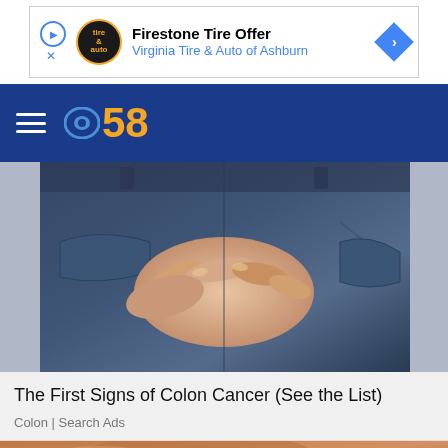[Figure (screenshot): Advertisement banner: Firestone Tire Offer - Virginia Tire & Auto of Ashburn with play/close icons and blue arrow]
[Figure (logo): CBS 58 navigation bar with hamburger menu and CBS eye logo with orange '58' text on dark blue background]
[Figure (photo): Photo of person in jeans with hands clasped behind their back]
The First Signs of Colon Cancer (See the List)
Colon | Search Ads
[Figure (photo): Partial photo of person, brown/warm tones, partially visible]
[Figure (screenshot): Bottom advertisement: Select Firestone Tires / Firestone Tire Rebate - Virginia Tire & Auto of Ashburn with close X button]